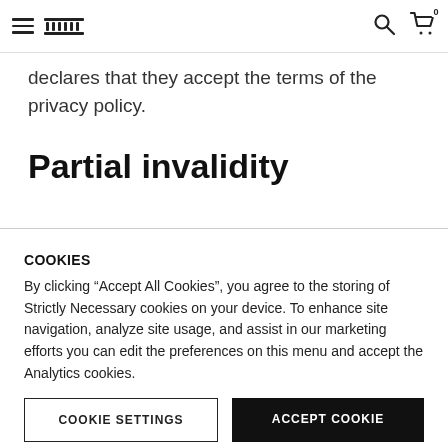Navigation header with hamburger menu, logo, search, and cart
declares that they accept the terms of the privacy policy.
Partial invalidity
COOKIES
By clicking “Accept All Cookies”, you agree to the storing of Strictly Necessary cookies on your device. To enhance site navigation, analyze site usage, and assist in our marketing efforts you can edit the preferences on this menu and accept the Analytics cookies.
COOKIE SETTINGS    ACCEPT COOKIE